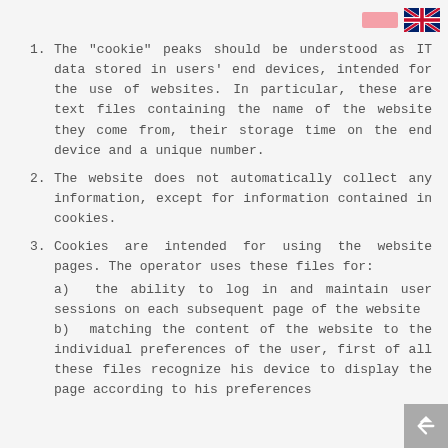[Figure (illustration): Pink rectangle flag indicator and UK flag icon in top right corner]
The "cookie" peaks should be understood as IT data stored in users' end devices, intended for the use of websites. In particular, these are text files containing the name of the website they come from, their storage time on the end device and a unique number.
The website does not automatically collect any information, except for information contained in cookies.
Cookies are intended for using the website pages. The operator uses these files for:
a) the ability to log in and maintain user sessions on each subsequent page of the website
b) matching the content of the website to the individual preferences of the user, first of all these files recognize his device to display the page according to his preferences